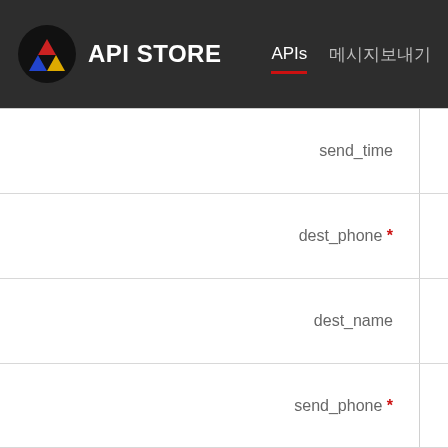API STORE — APIs  메시지보내기  충전하
send_time
dest_phone *
dest_name
send_phone *